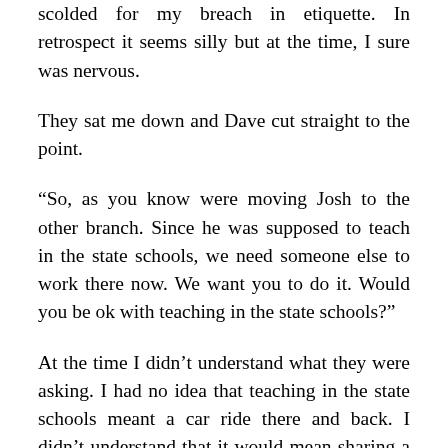scolded for my breach in etiquette. In retrospect it seems silly but at the time, I sure was nervous.
They sat me down and Dave cut straight to the point.
“So, as you know were moving Josh to the other branch. Since he was supposed to teach in the state schools, we need someone else to work there now. We want you to do it. Would you be ok with teaching in the state schools?”
At the time I didn’t understand what they were asking. I had no idea that teaching in the state schools meant a car ride there and back. I didn’t understand that it would mean sharing a common classroom without the ability to customize it. I had never taught a class on my own before and I was wildly naive about the entire experience. With my two most senior